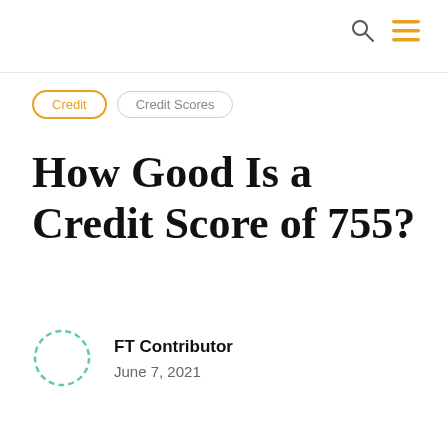Credit  Credit Scores
How Good Is a Credit Score of 755?
FT Contributor
June 7, 2021